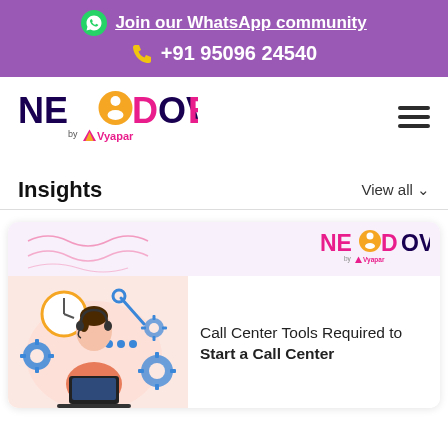Join our WhatsApp community
+91 95096 24540
[Figure (logo): NeoDove by Vyapar logo]
Insights
View all
[Figure (illustration): Article card with call center illustration showing a woman with headset at computer, with gear and clock icons, and NeoDove logo watermark]
Call Center Tools Required to Start a Call Center